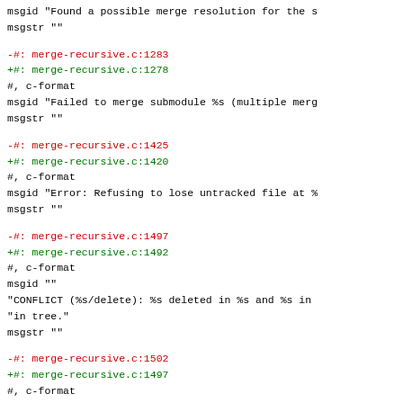msgid  "Found a possible merge resolution for the s"
msgstr ""
-#: merge-recursive.c:1283
+#: merge-recursive.c:1278
 #, c-format
 msgid "Failed to merge submodule %s (multiple merg"
 msgstr ""
-#: merge-recursive.c:1425
+#: merge-recursive.c:1420
 #, c-format
 msgid "Error: Refusing to lose untracked file at %"
 msgstr ""
-#: merge-recursive.c:1497
+#: merge-recursive.c:1492
 #, c-format
 msgid ""
 "CONFLICT (%s/delete): %s deleted in %s and %s in"
 "in tree."
 msgstr ""
-#: merge-recursive.c:1502
+#: merge-recursive.c:1497
 #, c-format
 msgid ""
 "CONFLICT (%s/delete): %s deleted in %s and %s to"
 "left in tree."
 msgstr ""